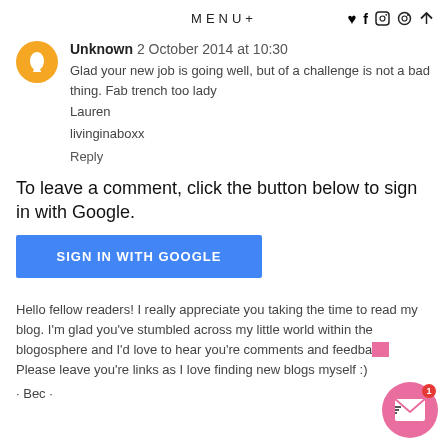MENU+ ♥ f ⬛ ⊛ ✓
Unknown  2 October 2014 at 10:30
Glad your new job is going well, but of a challenge is not a bad thing. Fab trench too lady
Lauren
livinginaboxx
Reply
To leave a comment, click the button below to sign in with Google.
SIGN IN WITH GOOGLE
Hello fellow readers! I really appreciate you taking the time to read my blog. I'm glad you've stumbled across my little world within the blogosphere and I'd love to hear you're comments and feedback. Please leave you're links as I love finding new blogs myself :)
· Bec ·